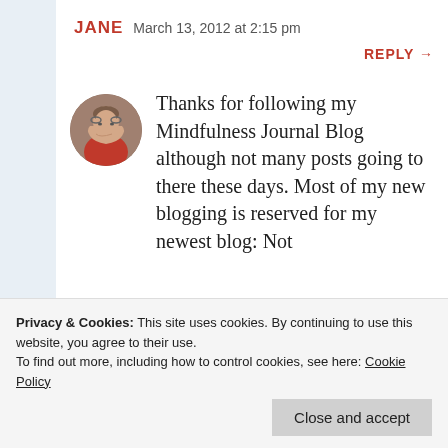JANE   March 13, 2012 at 2:15 pm
REPLY →
[Figure (photo): Circular avatar photo of an older woman with glasses, wearing red, with hand near face]
Thanks for following my Mindfulness Journal Blog although not many posts going to there these days. Most of my new blogging is reserved for my newest blog: Not
on my regular india
Privacy & Cookies: This site uses cookies. By continuing to use this website, you agree to their use.
To find out more, including how to control cookies, see here: Cookie Policy
Close and accept